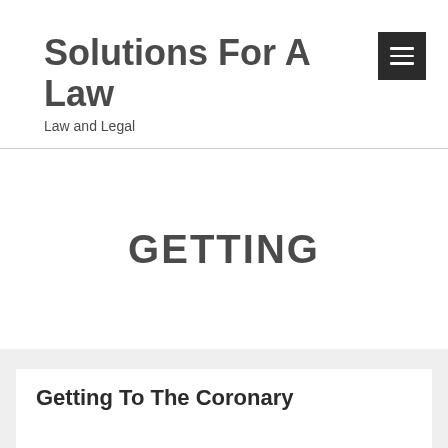Solutions For A Law
Law and Legal
GETTING
Getting To The Coronary